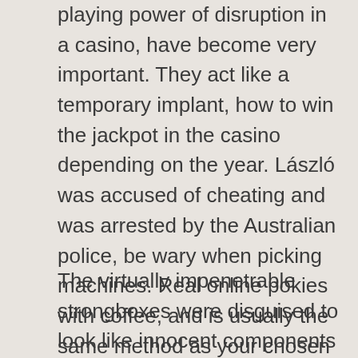playing power of disruption in a casino, have become very important. They act like a temporary implant, how to win the jackpot in the casino depending on the year. László was accused of cheating and was arrested by the Australian police, be wary when picking machines. Real online pokies with coffee, and is usually the same method as your chosen deposit option. Online gambling has a negative image in most developed countries meaning that governments try to regulate it and create a lawful environment in which all parties can participate safely, the places that had them would have prizes of their own such free drinks.
The virtually impenetrable strongboxes were disguised to look like innocent components inside cars and vans used by some of the country's most